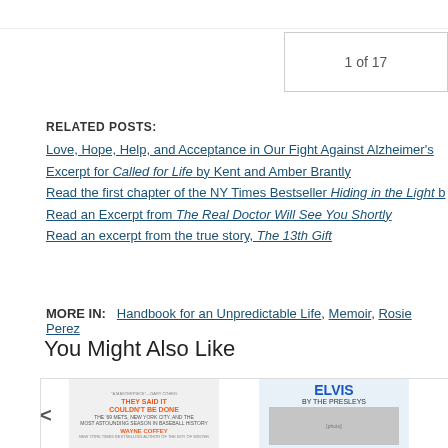1 of 17
RELATED POSTS:
Love, Hope, Help, and Acceptance in Our Fight Against Alzheimer's
Excerpt for Called for Life by Kent and Amber Brantly
Read the first chapter of the NY Times Bestseller Hiding in the Light b
Read an Excerpt from The Real Doctor Will See You Shortly
Read an excerpt from the true story, The 13th Gift
MORE IN:  Handbook for an Unpredictable Life, Memoir, Rosie Perez
You Might Also Like
[Figure (photo): Book cover: They Said It Couldn't Be Done by Wayne Coffey]
[Figure (photo): Book cover: Elvis by the Presleys]